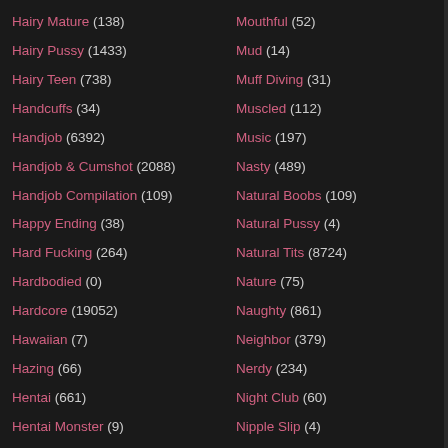Hairy Mature (138)
Hairy Pussy (1433)
Hairy Teen (738)
Handcuffs (34)
Handjob (6392)
Handjob & Cumshot (2088)
Handjob Compilation (109)
Happy Ending (38)
Hard Fucking (264)
Hardbodied (0)
Hardcore (19052)
Hawaiian (7)
Hazing (66)
Hentai (661)
Hentai Monster (9)
Hermaphrodite (5)
Mouthful (52)
Mud (14)
Muff Diving (31)
Muscled (112)
Music (197)
Nasty (489)
Natural Boobs (109)
Natural Pussy (4)
Natural Tits (8724)
Nature (75)
Naughty (861)
Neighbor (379)
Nerdy (234)
Night Club (60)
Nipple Slip (4)
Nipples (4385)